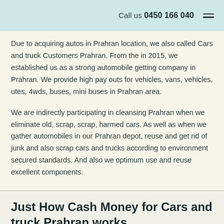Call us 0450 166 040
Due to acquiring autos in Prahran location, we also called Cars and truck Customers Prahran. From the in 2015, we established us as a strong automobile getting company in Prahran. We provide high pay outs for vehicles, vans, vehicles, utes, 4wds, buses, mini buses in Prahran area.
We are indirectly participating in cleansing Prahran when we eliminate old, scrap, scrap, harmed cars. As well as when we gather automobiles in our Prahran depot, reuse and get rid of junk and also scrap cars and trucks according to environment secured standards. And also we optimum use and reuse excellent components.
Just How Cash Money for Cars and truck Prahran works